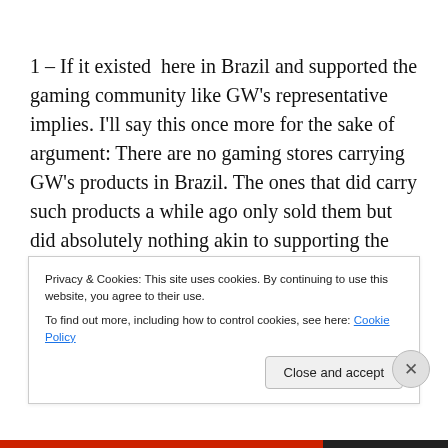1 – If it existed  here in Brazil and supported the gaming community like GW's representative implies. I'll say this once more for the sake of argument: There are no gaming stores carrying GW's products in Brazil. The ones that did carry such products a while ago only sold them but did absolutely nothing akin to supporting the gaming community. I've visited quite a few of them and NEVER came across a single one which had a table you could play the game in or staff to explain the nuances of the
Privacy & Cookies: This site uses cookies. By continuing to use this website, you agree to their use.
To find out more, including how to control cookies, see here: Cookie Policy
Close and accept